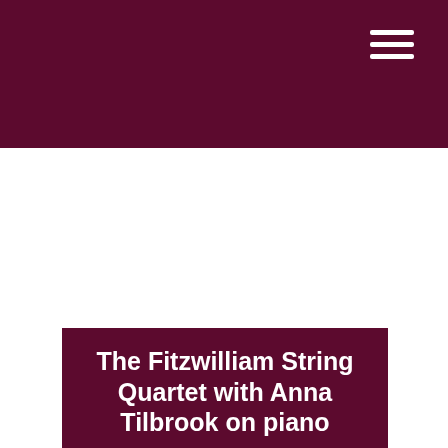The Fitzwilliam String Quartet with Anna Tilbrook on piano